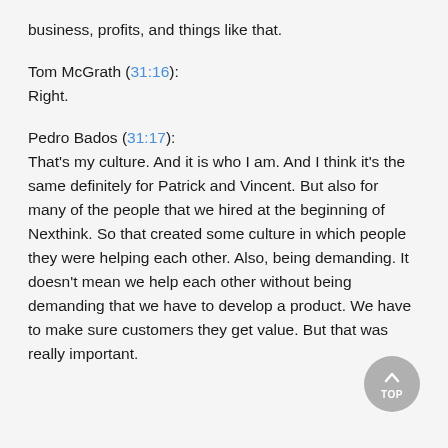business, profits, and things like that.
Tom McGrath (31:16):
Right.
Pedro Bados (31:17):
That's my culture. And it is who I am. And I think it's the same definitely for Patrick and Vincent. But also for many of the people that we hired at the beginning of Nexthink. So that created some culture in which people they were helping each other. Also, being demanding. It doesn't mean we help each other without being demanding that we have to develop a product. We have to make sure customers they get value. But that was really important.